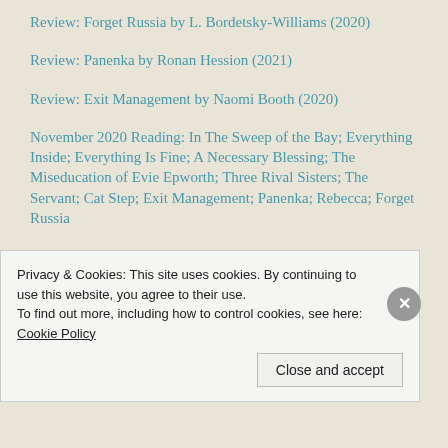Review: Forget Russia by L. Bordetsky-Williams (2020)
Review: Panenka by Ronan Hession (2021)
Review: Exit Management by Naomi Booth (2020)
November 2020 Reading: In The Sweep of the Bay; Everything Inside; Everything Is Fine; A Necessary Blessing; The Miseducation of Evie Epworth; Three Rival Sisters; The Servant; Cat Step; Exit Management; Panenka; Rebecca; Forget Russia
Review: Tomorrow Sex Will Be Good Again by Katherine Angel (2021)
Review: Cat Step by Alison Irvine (2020)
Review: The Servant by Maggie Richell-Davies (2020)
Privacy & Cookies: This site uses cookies. By continuing to use this website, you agree to their use.
To find out more, including how to control cookies, see here: Cookie Policy